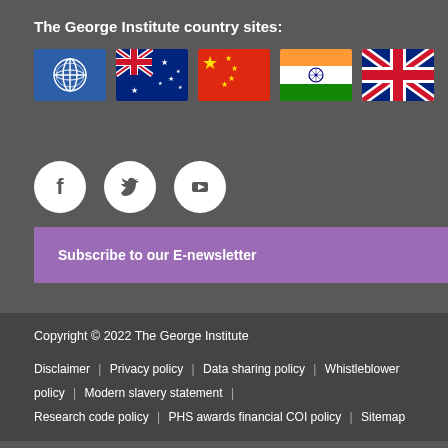The George Institute country sites:
[Figure (illustration): Five flag icons: globe/global, Australia, China, India, United Kingdom]
[Figure (illustration): Social media icons: Facebook, Twitter, YouTube]
Subscribe to our E-newsletter
Copyright © 2022 The George Institute
Disclaimer  |  Privacy policy  |  Data sharing policy  |  Whistleblower policy  |  Modern slavery statement  |  Research code policy  |  PHS awards financial COI policy  |  Sitemap